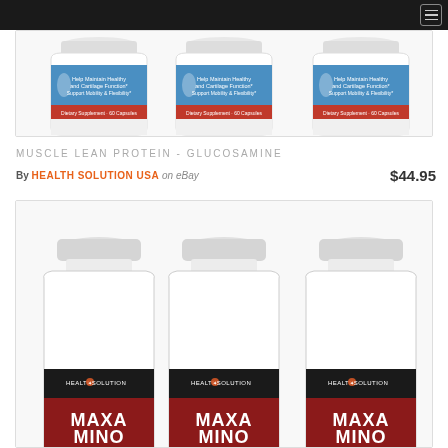[Figure (photo): Three white supplement bottles (Glucosamine, Dietary Supplement 60 Capsules) shown side by side, partially cropped at top]
MUSCLE LEAN PROTEIN - GLUCOSAMINE
By HEALTH SOLUTION USA on eBay  $44.95
[Figure (photo): Three white supplement bottles with HEALTH SOLUTION MAXAMINO label and dark label with red design, shown side by side, partially cropped]